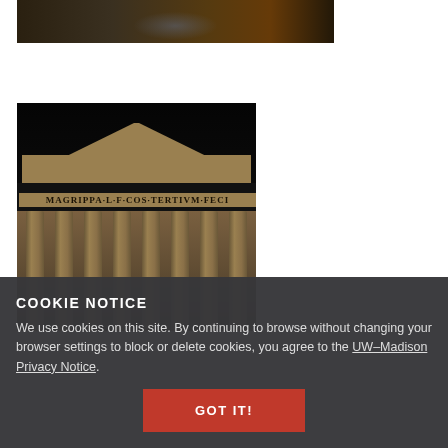[Figure (photo): Partial top view of a night fountain scene, dark warm tones, bottom portion of a Roman-style fountain with people in background]
[Figure (photo): Night photograph of the Pantheon in Rome showing the pediment, inscription 'MAGRIPPA L F COS TERTIVM FECIT', and classical columns illuminated against a dark sky]
COOKIE NOTICE
We use cookies on this site. By continuing to browse without changing your browser settings to block or delete cookies, you agree to the UW–Madison Privacy Notice.
GOT IT!